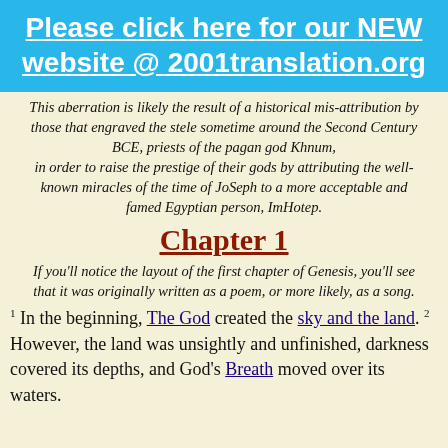Please click here for our NEW website @ 2001translation.org
This aberration is likely the result of a historical mis-attribution by those that engraved the stele sometime around the Second Century BCE, priests of the pagan god Khnum, in order to raise the prestige of their gods by attributing the well-known miracles of the time of JoSeph to a more acceptable and famed Egyptian person, ImHotep.
Chapter 1
If you'll notice the layout of the first chapter of Genesis, you'll see that it was originally written as a poem, or more likely, as a song.
1 In the beginning, The God created the sky and the land. 2 However, the land was unsightly and unfinished, darkness covered its depths, and God's Breath moved over its waters.